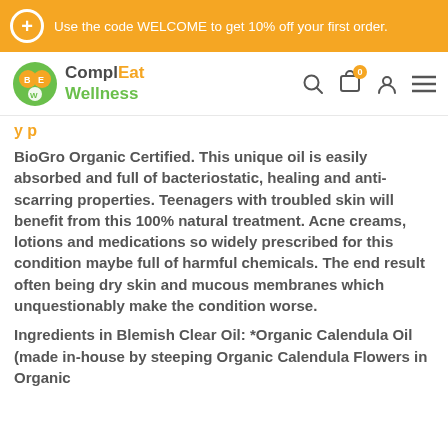Use the code WELCOME to get 10% off your first order.
[Figure (logo): ComplEat Wellness logo with navigation icons for search, cart (0), user account, and menu]
BioGro Organic Certified. This unique oil is easily absorbed and full of bacteriostatic, healing and anti-scarring properties. Teenagers with troubled skin will benefit from this 100% natural treatment. Acne creams, lotions and medications so widely prescribed for this condition maybe full of harmful chemicals. The end result often being dry skin and mucous membranes which unquestionably make the condition worse.
Ingredients in Blemish Clear Oil: *Organic Calendula Oil (made in-house by steeping Organic Calendula Flowers in Organic